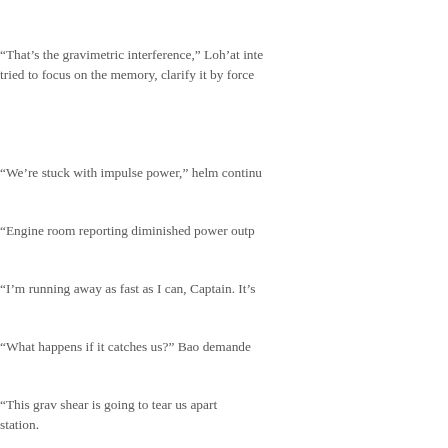“That’s the gravimetric interference,” Loh’at inte tried to focus on the memory, clarify it by force
“We’re stuck with impulse power,” helm continu
“Engine room reporting diminished power outp
“I’m running away as fast as I can, Captain. It’s
“What happens if it catches us?” Bao demande
“This grav shear is going to tear us apart befor station.
“And if that doesn’t kill us, the EM radiation will will become dangerous in six minutes and letha
“Only bad things, then,” Bao summarized. “Anc need options, people.”
“I have a full salvo of photon torpedoes loaded
“Do you think that will help?”